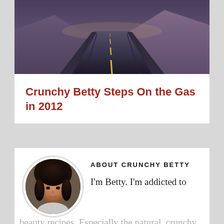[Figure (photo): A road receding into the distance between mountains, photographed at dusk with yellow center lines visible on the pavement.]
Crunchy Betty Steps On the Gas in 2012
ABOUT CRUNCHY BETTY
[Figure (photo): Circular avatar photo of a woman with dark hair, facing the camera.]
I'm Betty. I'm addicted to beauty recipes. Especially the natural, crunchy, food-based ones. |